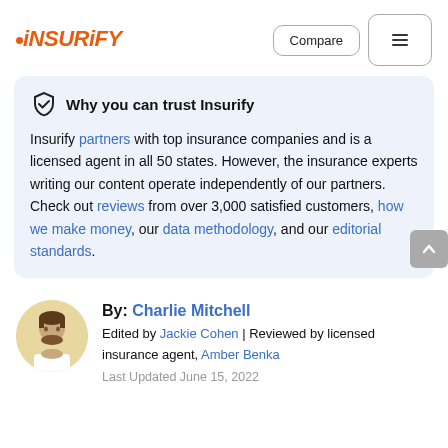INSURIFY | Compare | Menu
Why you can trust Insurify
Insurify partners with top insurance companies and is a licensed agent in all 50 states. However, the insurance experts writing our content operate independently of our partners. Check out reviews from over 3,000 satisfied customers, how we make money, our data methodology, and our editorial standards.
By: Charlie Mitchell
Edited by Jackie Cohen | Reviewed by licensed insurance agent, Amber Benka
Last Updated June 15, 2022